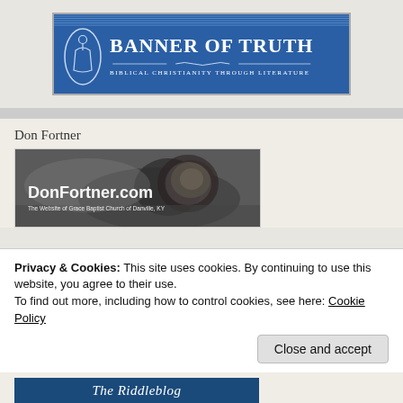[Figure (logo): Banner of Truth logo — blue banner with robed figure icon, title 'BANNER OF TRUTH' and subtitle 'BIBLICAL CHRISTIANITY THROUGH LITERATURE']
Don Fortner
[Figure (photo): Black and white photo of a lion lying in grass with text overlay 'DonFortner.com – The Website of Grace Baptist Church of Danville, KY']
Privacy & Cookies: This site uses cookies. By continuing to use this website, you agree to their use.
To find out more, including how to control cookies, see here: Cookie Policy
Close and accept
[Figure (screenshot): Bottom strip showing 'The Riddleblog' header bar in blue]